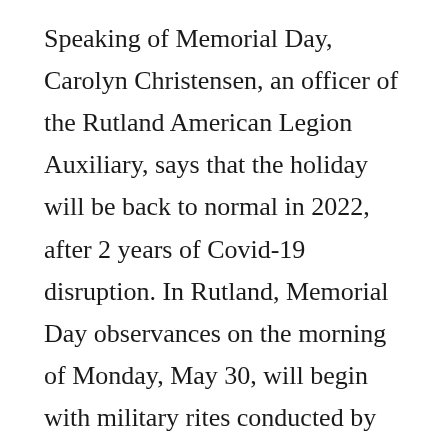Speaking of Memorial Day, Carolyn Christensen, an officer of the Rutland American Legion Auxiliary, says that the holiday will be back to normal in 2022, after 2 years of Covid-19 disruption. In Rutland, Memorial Day observances on the morning of Monday, May 30, will begin with military rites conducted by Bergman-Evenson Post #215 of the American Legion at the Nordland Cemetery, 1½ mile east and ½ mile south of town, followed by military rites at the Rutland Cemetery on the east edge of town at 10:30 a.m. A program produced by the American Legion Auxiliary will be presented at 11:00 a.m. in the Rutland Town Hall, followed by the traditional community pot-luck dinner, also in the Town Hall. Everyone is invited to participate in Memorial Day observances in Rutland on